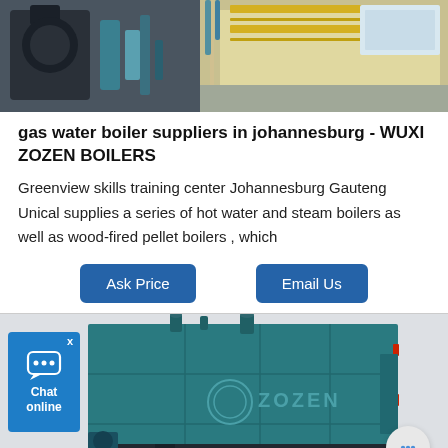[Figure (photo): Industrial boiler equipment photograph showing pipe fittings and yellow-striped industrial machinery in a facility]
gas water boiler suppliers in johannesburg - WUXI ZOZEN BOILERS
Greenview skills training center Johannesburg Gauteng Unical supplies a series of hot water and steam boilers as well as wood-fired pellet boilers , which
[Figure (photo): Large teal/blue industrial ZOZEN branded boiler unit with pipes and metal casing]